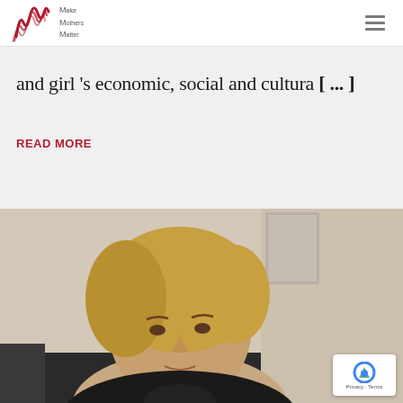Make Mothers Matter
and girl 's economic, social and cultura [ ... ]
READ MORE
[Figure (photo): A woman with short blonde hair sitting in front of a beige wall with a framed picture, wearing a dark top, looking toward the camera. A reCAPTCHA badge is visible in the bottom right corner with 'Privacy - Terms' text.]